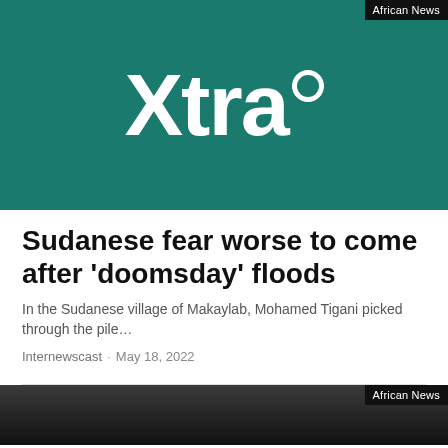[Figure (logo): Xtra logo — white bold italic text 'Xtra' with a small circle/degree symbol, on a dark teal/green background. Top-right corner has 'African News' label on black background.]
Sudanese fear worse to come after ‘doomsday’ floods
In the Sudanese village of Makaylab, Mohamed Tigani picked through the pile…
Internewscast · May 18, 2022
[Figure (photo): Partial black and white photo at the bottom of the page, with 'African News' label on black background in top-right corner.]